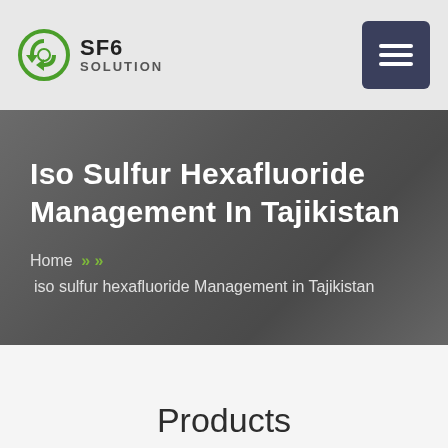[Figure (logo): SF6 Solution company logo with green circular recycling-style icon and text 'SF6 SOLUTION']
Iso Sulfur Hexafluoride Management In Tajikistan
Home » » iso sulfur hexafluoride Management in Tajikistan
Products